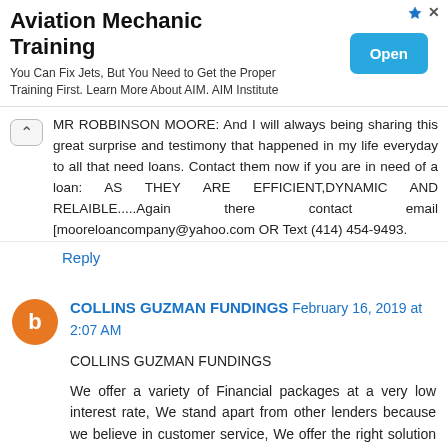[Figure (other): Advertisement banner for Aviation Mechanic Training with title, body text, and an 'Open' button]
MR ROBBINSON MOORE: And I will always being sharing this great surprise and testimony that happened in my life everyday to all that need loans. Contact them now if you are in need of a loan: AS THEY ARE EFFICIENT,DYNAMIC AND RELAIBLE.....Again there contact email [mooreloancompany@yahoo.com OR Text (414) 454-9493.
Reply
COLLINS GUZMAN FUNDINGS February 16, 2019 at 2:07 AM
COLLINS GUZMAN FUNDINGS
We offer a variety of Financial packages at a very low interest rate, We stand apart from other lenders because we believe in customer service, We offer the right solution to your financial needs.In general we are FINANCE